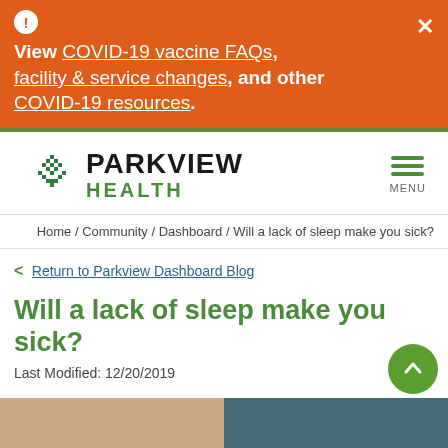View COVID-19 vaccine FAQs, facility & service changes, and other COVID-19 resources.
[Figure (logo): Parkview Health logo with green diamond/snowflake icon, bold PARKVIEW text and green HEALTH text]
Home / Community / Dashboard / Will a lack of sleep make you sick?
Return to Parkview Dashboard Blog
Will a lack of sleep make you sick?
Last Modified: 12/20/2019
[Figure (photo): Partial bottom edge image strip showing warm beige/tan on left and dark teal/blue on right]